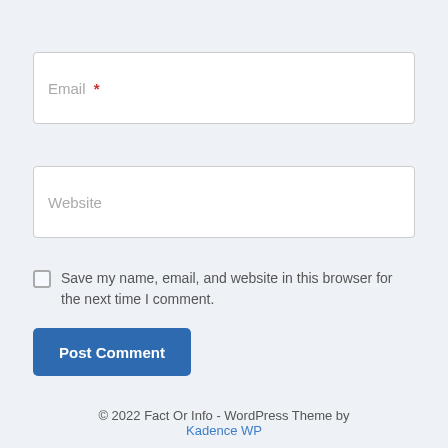Email *
Website
Save my name, email, and website in this browser for the next time I comment.
Post Comment
© 2022 Fact Or Info - WordPress Theme by Kadence WP